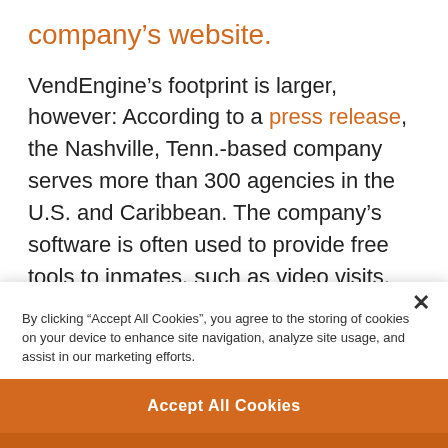company's website.
VendEngine's footprint is larger, however: According to a press release, the Nashville, Tenn.-based company serves more than 300 agencies in the U.S. and Caribbean. The company's software is often used to provide free tools to inmates, such as video visits, emails, texts, medical requests and
By clicking "Accept All Cookies", you agree to the storing of cookies on your device to enhance site navigation, analyze site usage, and assist in our marketing efforts.
Accept All Cookies
Reject All
Cookies Settings